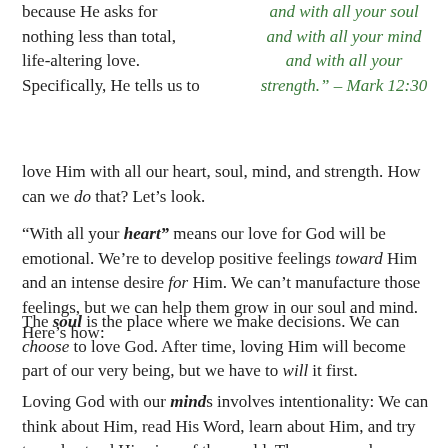because He asks for nothing less than total, life-altering love. Specifically, He tells us to
and with all your soul and with all your mind and with all your strength.” – Mark 12:30
love Him with all our heart, soul, mind, and strength. How can we do that? Let’s look.
“With all your heart” means our love for God will be emotional. We’re to develop positive feelings toward Him and an intense desire for Him. We can’t manufacture those feelings, but we can help them grow in our soul and mind. Here’s how:
The soul is the place where we make decisions. We can choose to love God. After time, loving Him will become part of our very being, but we have to will it first.
Loving God with our minds involves intentionality: We can think about Him, read His Word, learn about Him, and try to understand His view of the world. The more we know about